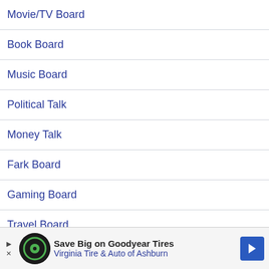Movie/TV Board
Book Board
Music Board
Political Talk
Money Talk
Fark Board
Gaming Board
Travel Board
Food/Drink Board
Ticket E…
TD Help…
[Figure (infographic): Advertisement banner: Save Big on Goodyear Tires, Virginia Tire & Auto of Ashburn, with logo and arrow icon]